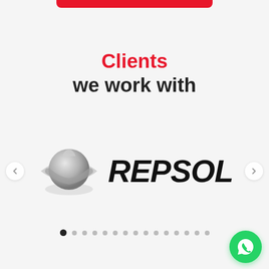Clients
we work with
[Figure (logo): Repsol company logo with silver planet/sphere icon and bold italic REPSOL wordmark in black]
[Figure (other): Carousel navigation dots — 15 dots, first dot active/filled black, rest grey. Left and right arrow navigation buttons on sides. WhatsApp floating action button (green circle with phone icon) bottom right.]